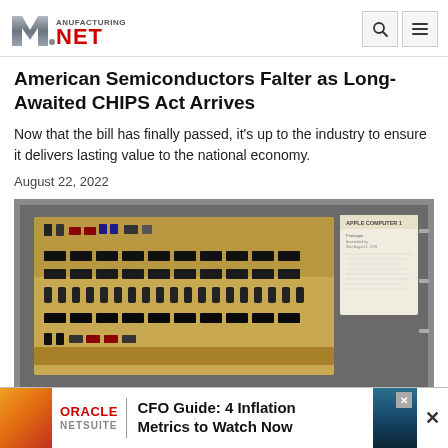Manufacturing NET
American Semiconductors Falter as Long-Awaited CHIPS Act Arrives
Now that the bill has finally passed, it's up to the industry to ensure it delivers lasting value to the national economy.
August 22, 2022
[Figure (photo): Photograph of an old Apple Computer circuit board (motherboard) with semiconductor chips, displayed alongside an Apple Computer documentation page.]
[Figure (infographic): Oracle NetSuite advertisement: CFO Guide: 4 Inflation Metrics to Watch Now]